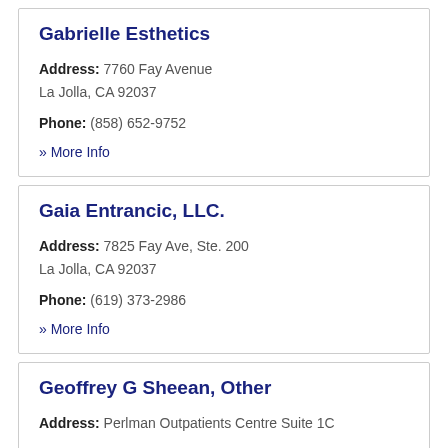Gabrielle Esthetics
Address: 7760 Fay Avenue
La Jolla, CA 92037
Phone: (858) 652-9752
» More Info
Gaia Entrancic, LLC.
Address: 7825 Fay Ave, Ste. 200
La Jolla, CA 92037
Phone: (619) 373-2986
» More Info
Geoffrey G Sheean, Other
Address: Perlman Outpatients Centre Suite 1C